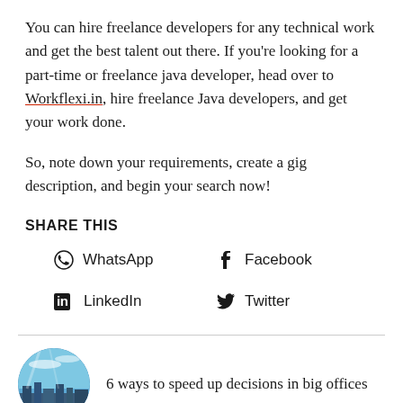You can hire freelance developers for any technical work and get the best talent out there. If you're looking for a part-time or freelance java developer, head over to Workflexi.in, hire freelance Java developers, and get your work done.
So, note down your requirements, create a gig description, and begin your search now!
SHARE THIS
WhatsApp
Facebook
LinkedIn
Twitter
[Figure (photo): Circular thumbnail photo of a city skyline with blue sky and clouds]
6 ways to speed up decisions in big offices